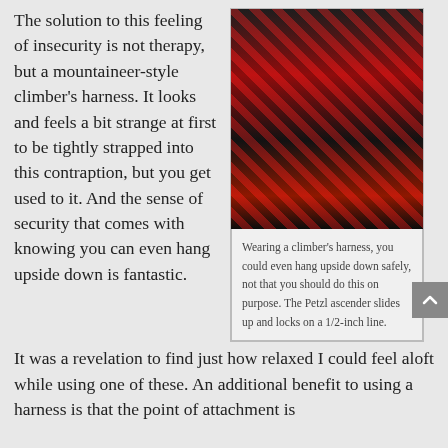The solution to this feeling of insecurity is not therapy, but a mountaineer-style climber's harness. It looks and feels a bit strange at first to be tightly strapped into this contraption, but you get used to it. And the sense of security that comes with knowing you can even hang upside down is fantastic. It was a revelation to find just how relaxed I could feel aloft while using one of these. An additional benefit to using a harness is that the point of attachment is
[Figure (photo): A black and red mountaineer-style climber's harness with straps and buckles, photographed from above on a light surface.]
Wearing a climber's harness, you could even hang upside down safely, not that you should do this on purpose. The Petzl ascender slides up and locks on a 1/2-inch line.